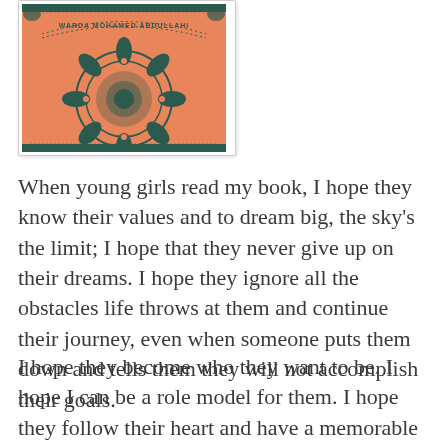[Figure (illustration): Book cover illustration with orange background, intricate dark teal mandala/henna pattern design, and the author name 'WARDA MOHAMED ABDULLAHI' in dotted arc lettering at the top]
When young girls read my book, I hope they know their values and to dream big, the sky's the limit; I hope that they never give up on their dreams. I hope they ignore all the obstacles life throws at them and continue their journey, even when someone puts them down and tells them they will not accomplish their goals.
I hope they become who they want to be. I hope I can be a role model for them. I hope they follow their heart and have a memorable journey.